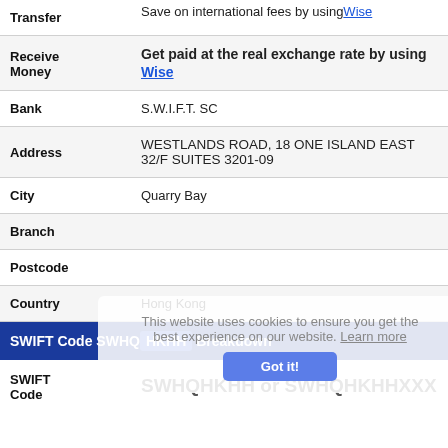| Label | Value |
| --- | --- |
| Transfer | Save on international fees by using Wise |
| Receive Money | Get paid at the real exchange rate by using Wise |
| Bank | S.W.I.F.T. SC |
| Address | WESTLANDS ROAD, 18 ONE ISLAND EAST
32/F SUITES 3201-09 |
| City | Quarry Bay |
| Branch |  |
| Postcode |  |
| Country | Hong Kong |
| SWIFT Code SWHQHKHH Breakdown |  |
| SWIFT Code | SWHQHKHH or SWHQHKHHXXX |